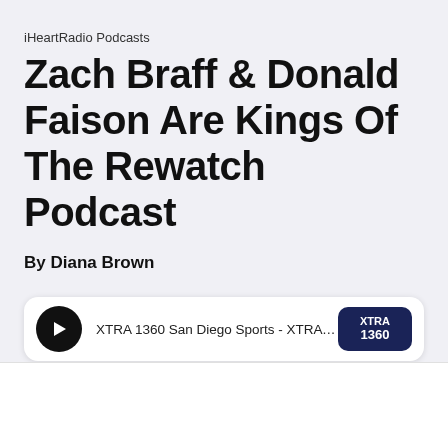iHeartRadio Podcasts
Zach Braff & Donald Faison Are Kings Of The Rewatch Podcast
By Diana Brown
[Figure (screenshot): Audio player widget showing XTRA 1360 San Diego Sports station with a play button on the left and the XTRA 1360 station logo on the right. Text reads: XTRA 1360 San Diego Sports - XTRA 1360 San Diego's...]